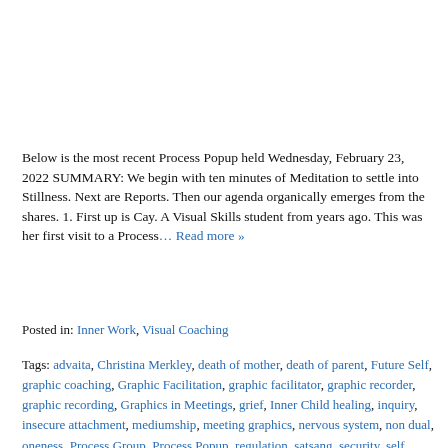Below is the most recent Process Popup held Wednesday, February 23, 2022 SUMMARY: We begin with ten minutes of Meditation to settle into Stillness. Next are Reports. Then our agenda organically emerges from the shares. 1. First up is Cay. A Visual Skills student from years ago. This was her first visit to a Process… Read more »
Posted in: Inner Work, Visual Coaching
Tags: advaita, Christina Merkley, death of mother, death of parent, Future Self, graphic coaching, Graphic Facilitation, graphic facilitator, graphic recorder, graphic recording, Graphics in Meetings, grief, Inner Child healing, inquiry, insecure attachment, mediumship, meeting graphics, nervous system, non dual, oneness, Process Group, Process Popup, regulation, satsang, security, self inquiry, sketchnote, sketchnoting, unity consciousness, visual coach, visual coaching, visual facilitation, visual facilitator